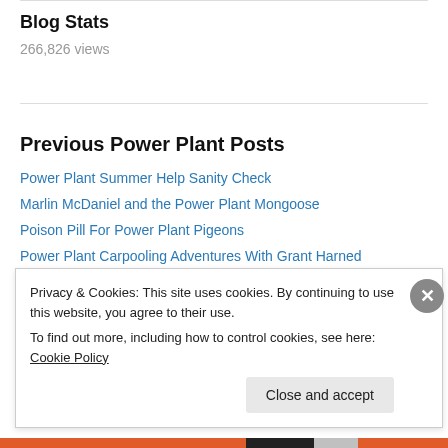Blog Stats
266,826 views
Previous Power Plant Posts
Power Plant Summer Help Sanity Check
Marlin McDaniel and the Power Plant Mongoose
Poison Pill For Power Plant Pigeons
Power Plant Carpooling Adventures With Grant Harned
Power Plant Weir Boxes and other Beautiful Sites
Power Plant Secrets Found During Daily Mail Run
Privacy & Cookies: This site uses cookies. By continuing to use this website, you agree to their use.
To find out more, including how to control cookies, see here: Cookie Policy
Close and accept